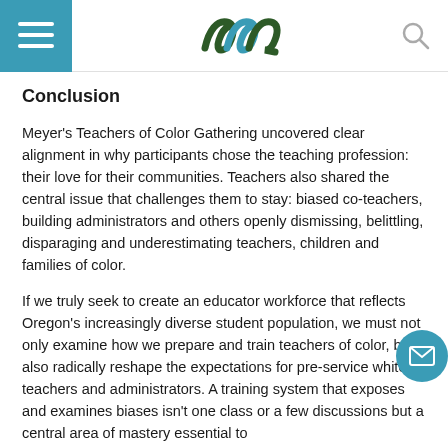[Figure (logo): Meyer Memorial Trust logo — stylized blue and dark green wave/bird mark]
Conclusion
Meyer's Teachers of Color Gathering uncovered clear alignment in why participants chose the teaching profession: their love for their communities. Teachers also shared the central issue that challenges them to stay: biased co-teachers, building administrators and others openly dismissing, belittling, disparaging and underestimating teachers, children and families of color.
If we truly seek to create an educator workforce that reflects Oregon's increasingly diverse student population, we must not only examine how we prepare and train teachers of color, but also radically reshape the expectations for pre-service white teachers and administrators. A training system that exposes and examines biases isn't one class or a few discussions but a central area of mastery essential to